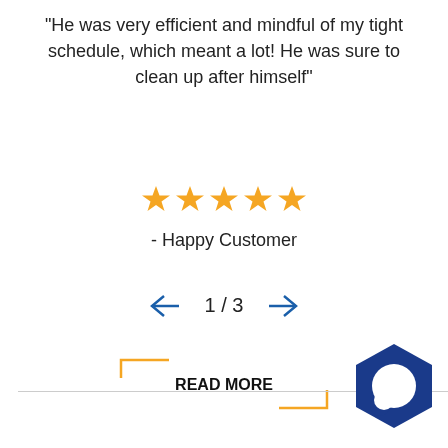“He was very efficient and mindful of my tight schedule, which meant a lot! He was sure to clean up after himself”
[Figure (infographic): Five gold stars rating]
- Happy Customer
[Figure (infographic): Navigation arrows with page indicator 1 / 3]
READ MORE
[Figure (logo): Blue hexagon logo with chat bubble icon in bottom right corner]